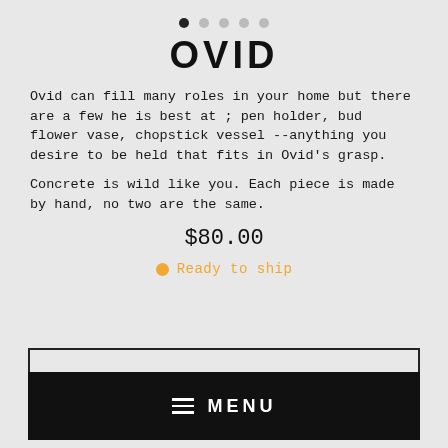[Figure (other): Five pagination dots, first filled/dark, remaining four light gray]
OVID
Ovid can fill many roles in your home but there are a few he is best at ; pen holder, bud flower vase, chopstick vessel --anything you desire to be held that fits in Ovid's grasp.
Concrete is wild like you. Each piece is made by hand, no two are the same.
$80.00
Ready to ship
MENU